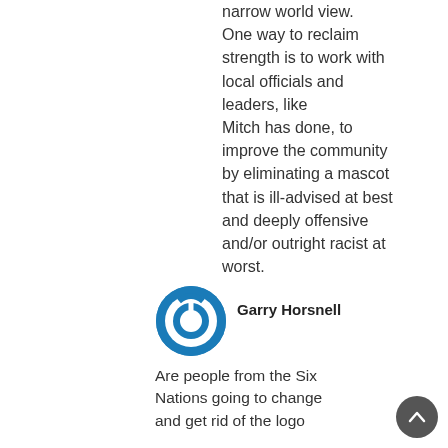narrow world view. One way to reclaim strength is to work with local officials and leaders, like Mitch has done, to improve the community by eliminating a mascot that is ill-advised at best and deeply offensive and/or outright racist at worst.
Garry Horsnell
[Figure (logo): Blue circular power button icon avatar]
Are people from the Six Nations going to change and get rid of the logo